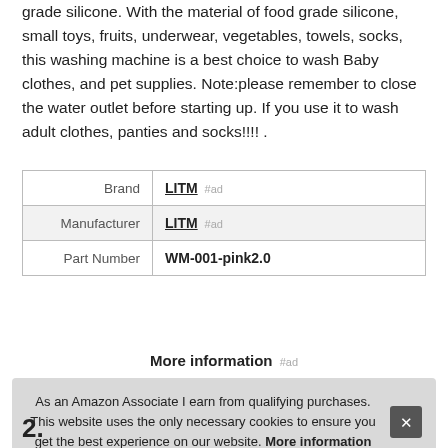grade silicone. With the material of food grade silicone, small toys, fruits, underwear, vegetables, towels, socks, this washing machine is a best choice to wash Baby clothes, and pet supplies. Note:please remember to close the water outlet before starting up. If you use it to wash adult clothes, panties and socks!!!! .
| Brand | LITM #ad |
| Manufacturer | LITM #ad |
| Part Number | WM-001-pink2.0 |
More information #ad
As an Amazon Associate I earn from qualifying purchases. This website uses the only necessary cookies to ensure you get the best experience on our website. More information
2.